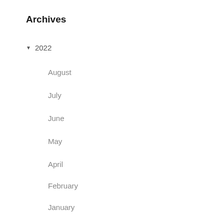Archives
▼ 2022
August
July
June
May
April
February
January
► 2021
► 2020
Press Inquiry